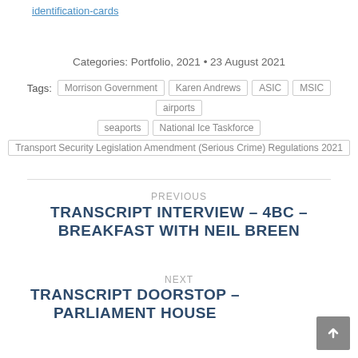identification-cards
Categories: Portfolio, 2021 • 23 August 2021
Tags: Morrison Government  Karen Andrews  ASIC  MSIC  airports  seaports  National Ice Taskforce  Transport Security Legislation Amendment (Serious Crime) Regulations 2021
PREVIOUS
TRANSCRIPT INTERVIEW – 4BC – BREAKFAST WITH NEIL BREEN
NEXT
TRANSCRIPT DOORSTOP – PARLIAMENT HOUSE